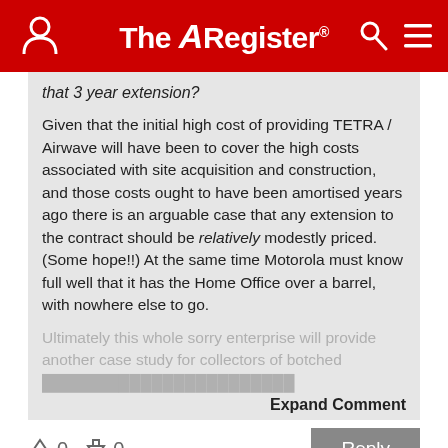The Register
that 3 year extension?
Given that the initial high cost of providing TETRA / Airwave will have been to cover the high costs associated with site acquisition and construction, and those costs ought to have been amortised years ago there is an arguable case that any extension to the contract should be relatively modestly priced. (Some hope!!) At the same time Motorola must know full well that it has the Home Office over a barrel, with nowhere else to go.
Ultimately this whole sorry enterprise will provide another case study for collectors of botched...
Expand Comment
0  0  Reply
Tuesday 25th September 2018 10:46 GMT